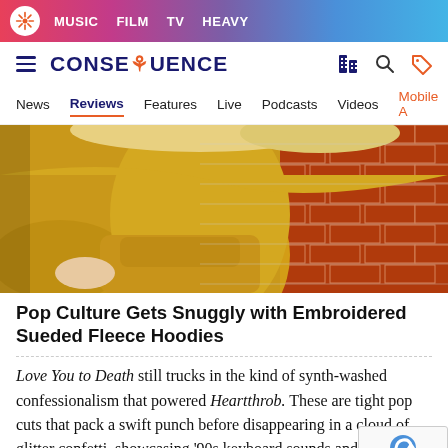MUSIC  FILM  TV  HEAVY
CONSEQUENCE
News  Reviews  Features  Live  Podcasts  Videos  Mobile App
[Figure (photo): Person wearing a yellow sueded fleece hoodie against a red brick wall background]
Pop Culture Gets Snuggly with Embroidered Sueded Fleece Hoodies
Love You to Death still trucks in the kind of synth-washed confessionalism that powered Heartthrob. These are tight pop cuts that pack a swift punch before disappearing in a cloud of glitter confetti, showcasing '90s keyboard sounds and drum machine beats.